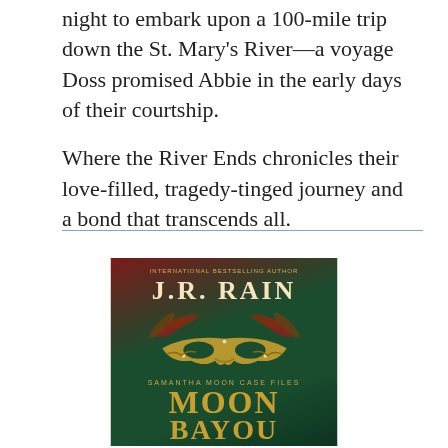night to embark upon a 100-mile trip down the St. Mary's River—a voyage Doss promised Abbie in the early days of their courtship.
Where the River Ends chronicles their love-filled, tragedy-tinged journey and a bond that transcends all.
[Figure (illustration): Book cover for 'Moon Bayou' by J.R. Rain, part of the Samantha Moon Case Files series. Features a decorative masquerade mask with feathers on a dark green and red background. Author name 'J.R. RAIN' is displayed at the top, with 'INTERNATIONAL BESTSELLING AUTHOR' above it. 'SAMANTHA MOON CASE FILES' is displayed above the large title 'MOON BAYOU'.]